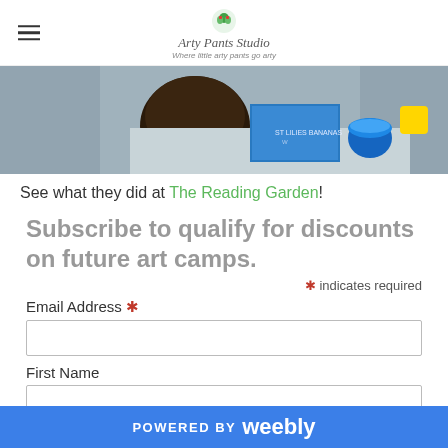Arty Pants Studio
[Figure (photo): Close-up photo of a child doing an art activity with blue paint and a blue box/card on a table]
See what they did at The Reading Garden!
Subscribe to qualify for discounts on future art camps.
* indicates required
Email Address *
First Name
Last Name
POWERED BY weebly